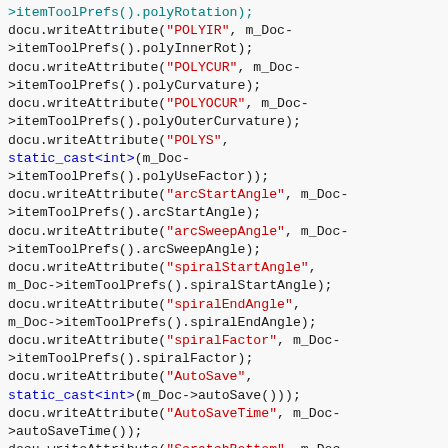[Figure (screenshot): Source code snippet in C++ showing docu.writeAttribute calls with string keys and member variable values from itemToolPrefs and Doc methods, rendered with syntax highlighting (red for string literals, blue for keywords, green/teal for identifiers)]